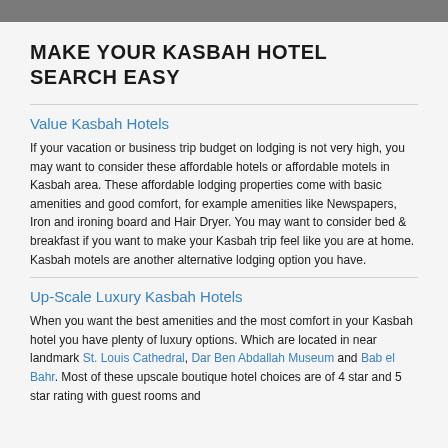MAKE YOUR KASBAH HOTEL SEARCH EASY
Value Kasbah Hotels
If your vacation or business trip budget on lodging is not very high, you may want to consider these affordable hotels or affordable motels in Kasbah area. These affordable lodging properties come with basic amenities and good comfort, for example amenities like Newspapers, Iron and ironing board and Hair Dryer. You may want to consider bed & breakfast if you want to make your Kasbah trip feel like you are at home. Kasbah motels are another alternative lodging option you have.
Up-Scale Luxury Kasbah Hotels
When you want the best amenities and the most comfort in your Kasbah hotel you have plenty of luxury options. Which are located in near landmark St. Louis Cathedral, Dar Ben Abdallah Museum and Bab el Bahr. Most of these upscale boutique hotel choices are of 4 star and 5 star rating with guest rooms and